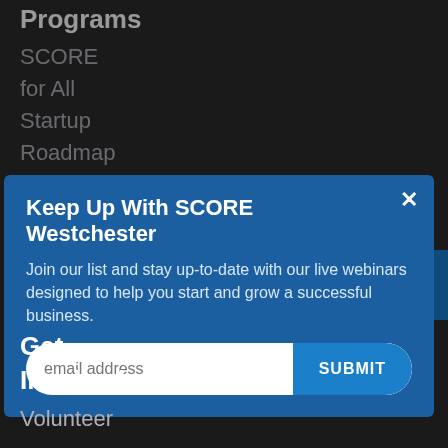Programs
SCORE
for All
Startup
Roadmap
Small
[Figure (screenshot): Modal popup with blue background: 'Keep Up With SCORE Westchester' heading, subtitle text about joining list for live webinars, and an email address input with SUBMIT button]
Get Involved
Volunteer